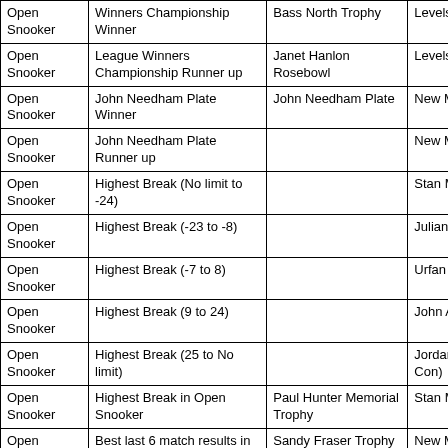| Category | Award/Description | Trophy | Winner |
| --- | --- | --- | --- |
| Open Snooker | Winners Championship Winner | Bass North Trophy | Levels A… |
| Open Snooker | League Winners Championship Runner up | Janet Hanlon Rosebowl | Levels C… |
| Open Snooker | John Needham Plate Winner | John Needham Plate | New Mill… |
| Open Snooker | John Needham Plate Runner up |  | New Mill… |
| Open Snooker | Highest Break (No limit to -24) |  | Stan Mo… (Levels) |
| Open Snooker | Highest Break (-23 to -8) |  | Julian M… (New Mil… |
| Open Snooker | Highest Break (-7 to 8) |  | Urfan Ba… (New Mil… |
| Open Snooker | Highest Break (9 to 24) |  | John Alle… (Paddoc… |
| Open Snooker | Highest Break (25 to No limit) |  | Jordan C… 31 (Mold… Con) |
| Open Snooker | Highest Break in Open Snooker | Paul Hunter Memorial Trophy | Stan Mo… (Levels) |
| Open Snooker | Best last 6 match results in the Open Snooker | Sandy Fraser Trophy | New Mill… |
| Veterans | Veterans Snooker… | John Clegg Memorial… | Slaithwa… |